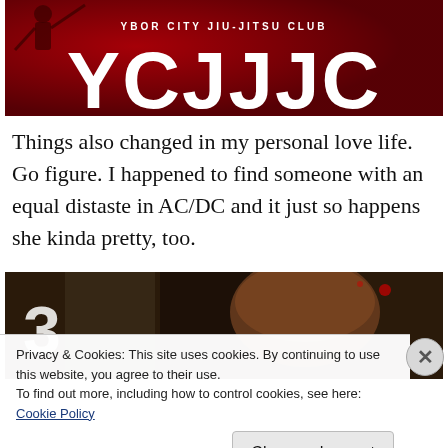[Figure (logo): Ybor City Jiu-Jitsu Club banner with red background, silhouette figure, text 'YBOR CITY JIU-JITSU CLUB' above large letters 'YCJJJC']
Things also changed in my personal love life. Go figure. I happened to find someone with an equal distaste in AC/DC and it just so happens she kinda pretty, too.
[Figure (photo): Dark photo showing the number 3 on the left side and a person with brown hair, partial view, dark background with red lights]
Privacy & Cookies: This site uses cookies. By continuing to use this website, you agree to their use.
To find out more, including how to control cookies, see here: Cookie Policy